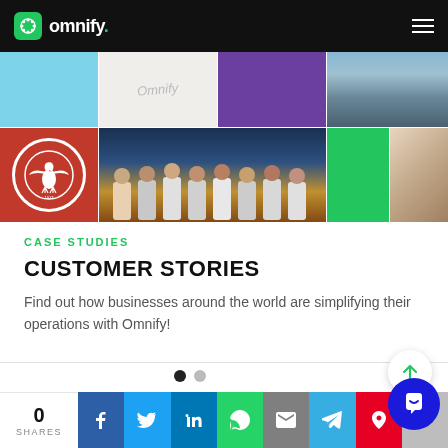omnify.
[Figure (photo): Grid of customer/client images: top row has a light blue rectangle, a cursive/handwritten text image, a purple rectangle, and a city/buildings photo. Bottom row has an Eintracht Frankfurt eagle logo on red background, a basketball team group photo on a court, a green rectangle, and a yoga/fitness class photo.]
CASE STUDIES
CUSTOMER STORIES
Find out how businesses around the world are simplifying their operations with Omnify!